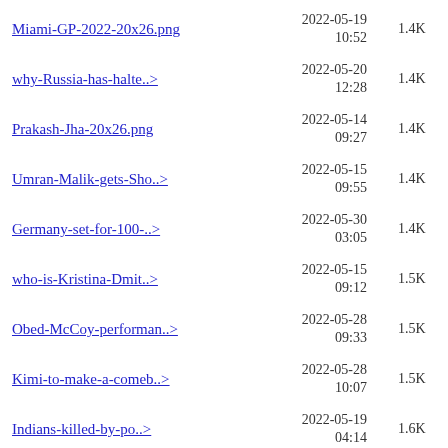Miami-GP-2022-20x26.png | 2022-05-19 10:52 | 1.4K
why-Russia-has-halte..> | 2022-05-20 12:28 | 1.4K
Prakash-Jha-20x26.png | 2022-05-14 09:27 | 1.4K
Umran-Malik-gets-Sho..> | 2022-05-15 09:55 | 1.4K
Germany-set-for-100-..> | 2022-05-30 03:05 | 1.4K
who-is-Kristina-Dmit..> | 2022-05-15 09:12 | 1.5K
Obed-McCoy-performan..> | 2022-05-28 09:33 | 1.5K
Kimi-to-make-a-comeb..> | 2022-05-28 10:07 | 1.5K
Indians-killed-by-po..> | 2022-05-19 04:14 | 1.6K
how-will-the-heat-wa..> | 2022-05-16 15:26 | 1.6K
sangakkara-on-obed-m..> | 2022-05-30 01:36 | 1.6K